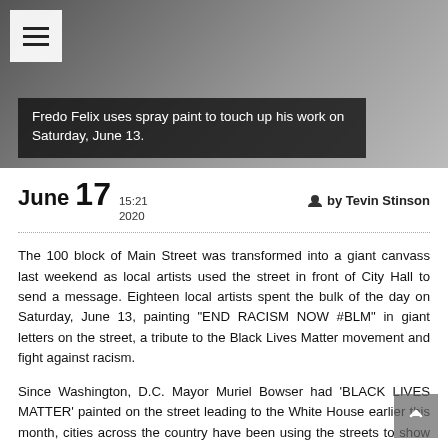[Figure (photo): A person kneeling on the ground using spray paint to touch up street art or mural work outdoors.]
Fredo Felix uses spray paint to touch up his work on Saturday, June 13.
June 17  15:21 2020  by Tevin Stinson
The 100 block of Main Street was transformed into a giant canvass last weekend as local artists used the street in front of City Hall to send a message. Eighteen local artists spent the bulk of the day on Saturday, June 13, painting “END RACISM NOW #BLM” in giant letters on the street, a tribute to the Black Lives Matter movement and fight against racism.
Since Washington, D.C. Mayor Muriel Bowser had ‘BLACK LIVES MATTER’ painted on the street leading to the White House earlier this month, cities across the country have been using the streets to show where they stand. Similar murals have been painted in Brooklyn, Seattle, Los Angeles, Dallas, Denver, and Charlotte. The